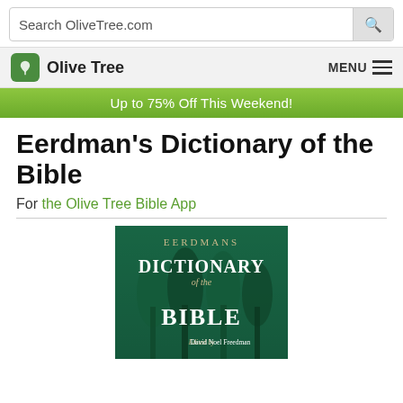Search OliveTree.com
Olive Tree  MENU
Up to 75% Off This Weekend!
Eerdman's Dictionary of the Bible
For the Olive Tree Bible App
[Figure (illustration): Book cover of Eerdmans Dictionary of the Bible, green background with silhouetted trees, titled EERDMANS DICTIONARY of the BIBLE, Edited by David Noel Freedman]